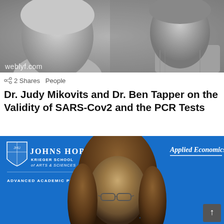[Figure (photo): Black and white photo of two people: a woman on the left smiling with light hair, and a man on the right in a button-up shirt. Watermark reading 'weblyf.com' visible in the lower left corner.]
2 Shares   People
Dr. Judy Mikovits and Dr. Ben Tapper on the Validity of SARS-Cov2 and the PCR Tests
[Figure (screenshot): Screenshot showing a woman with long brown hair and glasses in front of a bright blue Johns Hopkins background. The background shows the Johns Hopkins Krieger School of Arts & Sciences logo with shield, and text reading 'Applied Economics' and 'ADVANCED ACADEMIC PROGRA[M]'.]